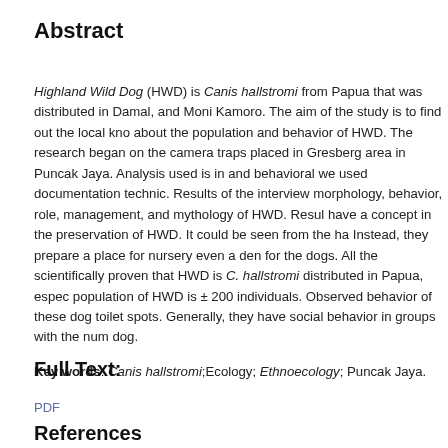Abstract
Highland Wild Dog (HWD) is Canis hallstromi from Papua that was distributed in Damal, and Moni Kamoro. The aim of the study is to find out the local knowledge about the population and behavior of HWD. The research began on the camera traps placed in Gresberg area in Puncak Jaya. Analysis used is in and behavioral we used documentation technic. Results of the interview morphology, behavior, role, management, and mythology of HWD. Results have a concept in the preservation of HWD. It could be seen from the ha Instead, they prepare a place for nursery even a den for the dogs. All the scientifically proven that HWD is C. hallstromi distributed in Papua, especially population of HWD is ± 200 individuals. Observed behavior of these dogs toilet spots. Generally, they have social behavior in groups with the number dog.
Key words: Canis hallstromi;Ecology; Ethnoecology; Puncak Jaya.
Full Text:
PDF
References